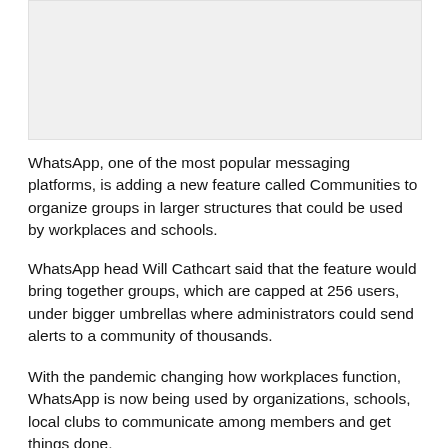[Figure (other): Gray placeholder image area at top of page]
WhatsApp, one of the most popular messaging platforms, is adding a new feature called Communities to organize groups in larger structures that could be used by workplaces and schools.
WhatsApp head Will Cathcart said that the feature would bring together groups, which are capped at 256 users, under bigger umbrellas where administrators could send alerts to a community of thousands.
With the pandemic changing how workplaces function, WhatsApp is now being used by organizations, schools, local clubs to communicate among members and get things done.